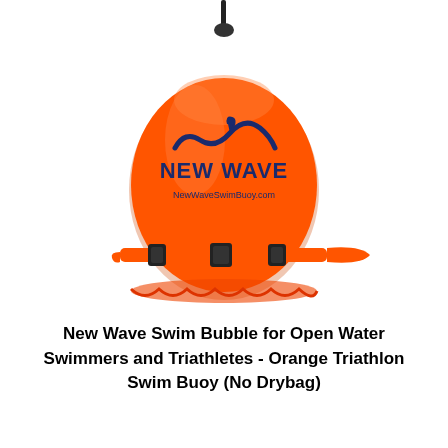[Figure (photo): Orange New Wave swim buoy (inflatable safety bubble) with a dark blue wave logo and text 'NEW WAVE' and 'NewWaveSwimBuoy.com' on the front. A black rope/cord hangs from the top valve. Below it is an orange adjustable waist strap with two black plastic buckles.]
New Wave Swim Bubble for Open Water Swimmers and Triathletes - Orange Triathlon Swim Buoy (No Drybag)